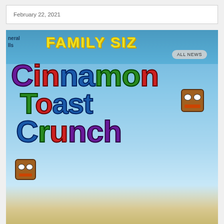February 22, 2021
[Figure (photo): Cinnamon Toast Crunch cereal box close-up showing the colorful logo with 'Cinnamon Toast Crunch' in multicolored letters, the Cinnamon square character mascot, and 'FAMILY SIZE' text at the top. Labeled with 'ALL NEWS' badge overlay.]